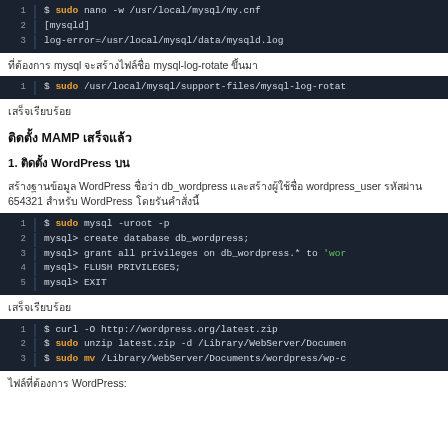[Figure (screenshot): Code block showing sudo nano -w /usr/local/mysql/my.cnf with [mysqld] and log-error setting]
ที่ต้องการ mysql จะสร้างไฟล์ชื่อ mysql-log-rotate ขึ้นมา
[Figure (screenshot): Code block: $ sudo /usr/local/mysql/support-files/mysql-log-rotat]
เสร็จเรียบร้อย
ติดตั้ง MAMP เสร็จแล้ว
1. ติดตั้ง WordPress บน
สร้างฐานข้อมูล WordPress ชื่อว่า db_wordpress และสร้างผู้ใช้ชื่อ wordpress_user รหัสผ่าน 654321 สำหรับ WordPress โดยรันคำสั่งนี้
[Figure (screenshot): Code block with mysql commands: sudo mysql -uroot -p, create database db_wordpress, grant all privileges, FLUSH PRIVILEGES, EXIT]
เสร็จเรียบร้อย
[Figure (screenshot): Code block: curl -O http://wordpress.org/latest.zip, sudo unzip latest.zip, sudo mv]
ไฟล์ที่ต้องการ WordPress: